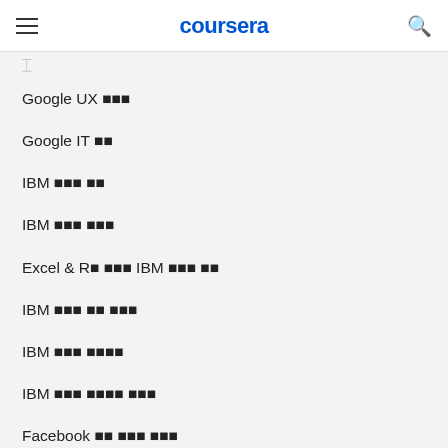coursera
Google UX 디자인
Google IT 지원
IBM 데이터 과학
IBM 풀스택 개발자
Excel & R을 활용한 IBM 비즈니스 분석
IBM 사이버 보안 분석가
IBM 데이터 엔지니어링
IBM 머신 러닝 전문가 과정
Facebook 소셜 미디어 마케팅
Facebook 마케팅 분석
Salesforce 영업 운영 전문가
Salesforce 영업 개발
Intuit 북키
Google 프로젝트 관리: 프로젝트 관리자 인증 및 취업